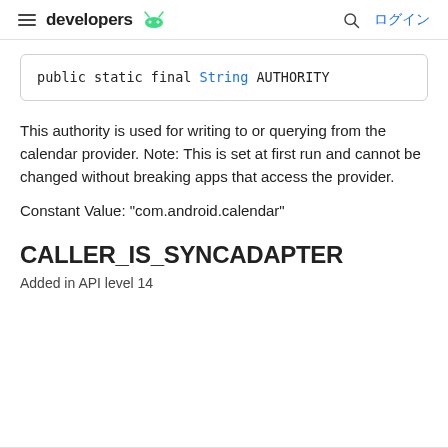developers  ログイン
This authority is used for writing to or querying from the calendar provider. Note: This is set at first run and cannot be changed without breaking apps that access the provider.
Constant Value: "com.android.calendar"
CALLER_IS_SYNCADAPTER
Added in API level 14